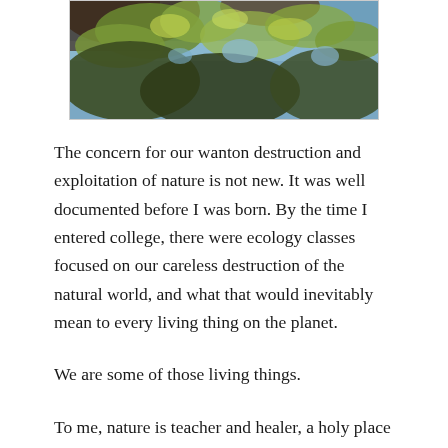[Figure (photo): A nature photograph showing tree branches with green and yellow-green leaves against a blue sky, viewed from below looking upward.]
The concern for our wanton destruction and exploitation of nature is not new. It was well documented before I was born. By the time I entered college, there were ecology classes focused on our careless destruction of the natural world, and what that would inevitably mean to every living thing on the planet.
We are some of those living things.
To me, nature is teacher and healer, a holy place where I retreat to seek the divine. Nature can be that for you, also, if you learn how to listen.